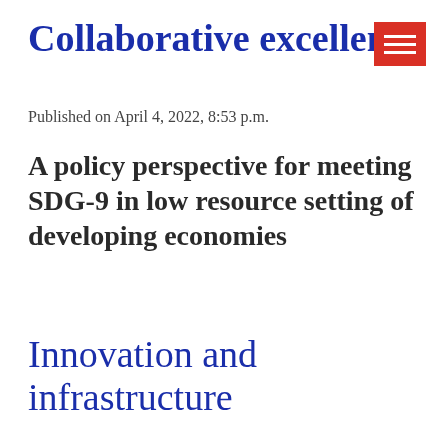Collaborative excellence
[Figure (other): Red hamburger menu icon with three white horizontal lines]
Published on April 4, 2022, 8:53 p.m.
A policy perspective for meeting SDG-9 in low resource setting of developing economies
Innovation and infrastructure